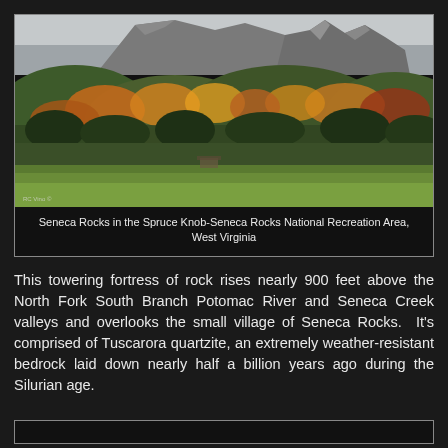[Figure (photo): Photograph of Seneca Rocks showing jagged rock formations rising above autumn-colored forested hills in West Virginia]
Seneca Rocks in the Spruce Knob-Seneca Rocks National Recreation Area, West Virginia
This towering fortress of rock rises nearly 900 feet above the North Fork South Branch Potomac River and Seneca Creek valleys and overlooks the small village of Seneca Rocks.  It's comprised of Tuscarora quartzite, an extremely weather-resistant bedrock laid down nearly half a billion years ago during the Silurian age.